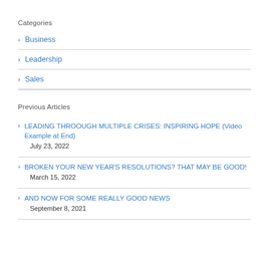Categories
Business
Leadership
Sales
Previous Articles
LEADING THROOUGH MULTIPLE CRISES: INSPIRING HOPE (Video Example at End)
July 23, 2022
BROKEN YOUR NEW YEAR'S RESOLUTIONS? THAT MAY BE GOOD!
March 15, 2022
AND NOW FOR SOME REALLY GOOD NEWS
September 8, 2021